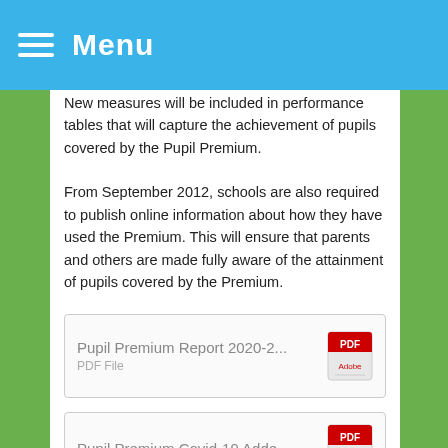Menu
New measures will be included in performance tables that will capture the achievement of pupils covered by the Pupil Premium.
From September 2012, schools are also required to publish online information about how they have used the Premium. This will ensure that parents and others are made fully aware of the attainment of pupils covered by the Premium.
Pupil Premium Report 2020-2...
PDF File
Pupil Premium Covid-19 Adde...